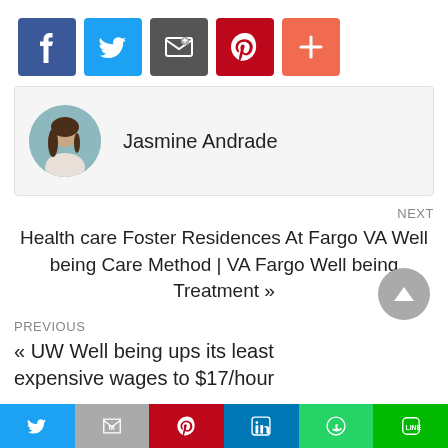[Figure (other): Social share buttons: Facebook (blue), Twitter (light blue), Email (dark grey), Pinterest (red), More (orange-red)]
[Figure (photo): Author box with circular profile photo of Jasmine Andrade and her name]
NEXT
Health care Foster Residences At Fargo VA Well being Care Method | VA Fargo Well being Treatment »
PREVIOUS
« UW Well being ups its least expensive wages to $17/hour
[Figure (other): Bottom social share bar with Twitter, Gmail, Pinterest, LinkedIn, WhatsApp, Line buttons]